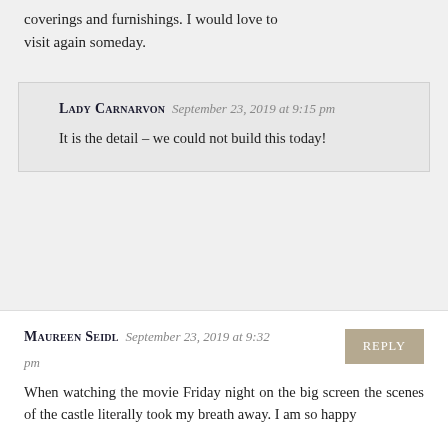coverings and furnishings. I would love to visit again someday.
LADY CARNARVON September 23, 2019 at 9:15 pm
It is the detail – we could not build this today!
MAUREEN SEIDL September 23, 2019 at 9:32 pm
When watching the movie Friday night on the big screen the scenes of the castle literally took my breath away. I am so happy